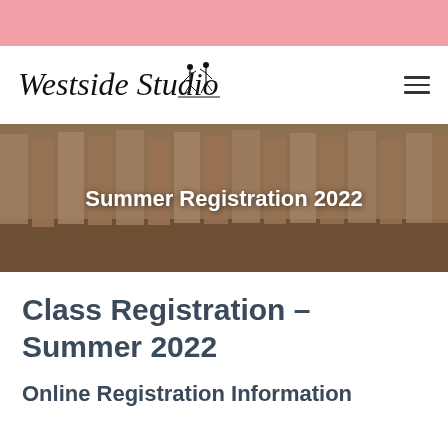[Figure (logo): Westside Studio logo with italic serif text and ballet dancer figure silhouette]
[Figure (photo): Close-up photo of ballet dancers feet in pointe shoes lined up on a wood floor, with 'Summer Registration 2022' text overlay]
Class Registration – Summer 2022
Online Registration Information